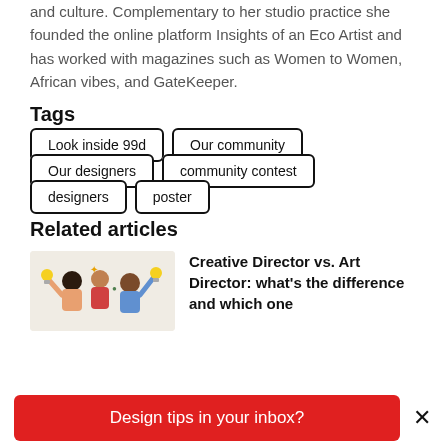and culture. Complementary to her studio practice she founded the online platform Insights of an Eco Artist and has worked with magazines such as Women to Women, African vibes, and GateKeeper.
Tags
Look inside 99d
Our community
Our designers
community contest
designers
poster
Related articles
[Figure (illustration): Illustration of people raising hands with lightbulbs and design elements on a beige background]
Creative Director vs. Art Director: what's the difference and which one
Design tips in your inbox?